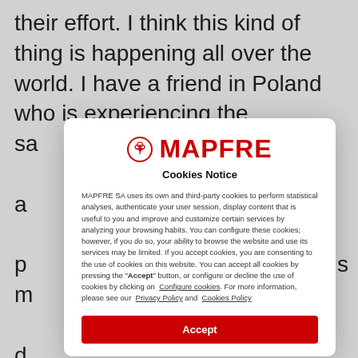their effort. I think this kind of thing is happening all over the world. I have a friend in Poland who is experiencing the sa a p m d b a se sa e s C h
[Figure (screenshot): MAPFRE Cookies Notice modal dialog overlay on top of article text. Contains MAPFRE logo (red circular emblem with tree and bold red MAPFRE text), 'Cookies Notice' subtitle, cookie policy explanation text with links to 'Configure cookies', 'Privacy Policy', and 'Cookies Policy', and a red 'Accept' button at bottom.]